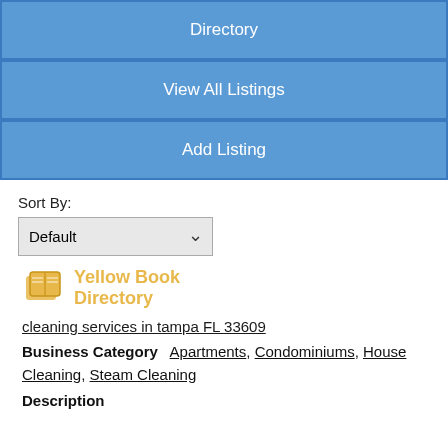Directory
View All Listings
Add Listing
Sort By:
Default
[Figure (logo): Yellow Book Directory logo with book icon and yellow text]
cleaning services in tampa FL 33609
Business Category   Apartments, Condominiums, House Cleaning, Steam Cleaning
Description